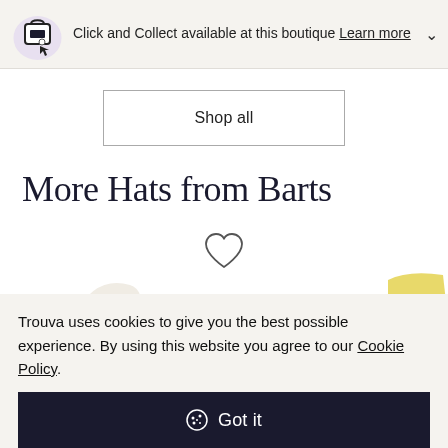Click and Collect available at this boutique Learn more
Shop all
More Hats from Barts
[Figure (illustration): Heart/wishlist icon outline]
[Figure (photo): Partial product images of hats – white hat and yellow hat visible at bottom]
Trouva uses cookies to give you the best possible experience. By using this website you agree to our Cookie Policy.
Got it